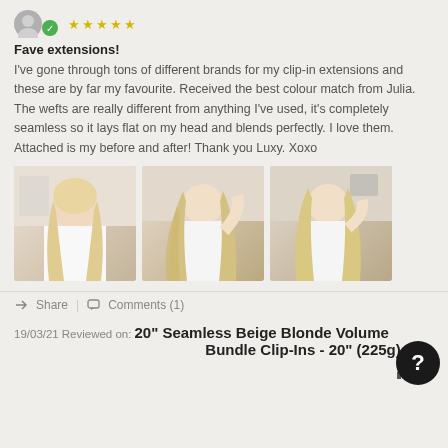[Figure (illustration): User avatar circle with verification badge and 5 gold/grey star rating]
Fave extensions!
I've gone through tons of different brands for my clip-in extensions and these are by far my favourite. Received the best colour match from Julia. The wefts are really different from anything I've used, it's completely seamless so it lays flat on my head and blends perfectly. I love them. Attached is my before and after! Thank you Luxy. Xoxo
[Figure (photo): Three side-by-side photos of a blonde woman showing before and after hair extensions]
Share | Comments (1)
19/03/21 Reviewed on: 20" Seamless Beige Blonde Volume Bundle Clip-Ins - 20" (225g)
17